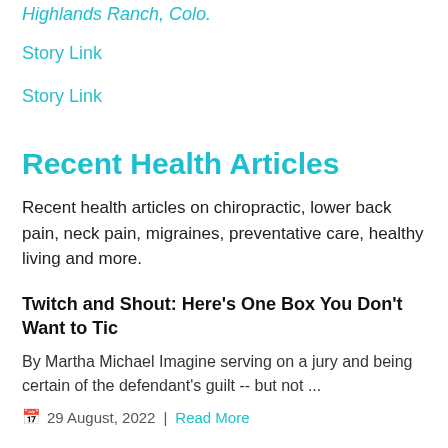Highlands Ranch, Colo.
Story Link
Story Link
Recent Health Articles
Recent health articles on chiropractic, lower back pain, neck pain, migraines, preventative care, healthy living and more.
Twitch and Shout: Here's One Box You Don't Want to Tic
By Martha Michael Imagine serving on a jury and being certain of the defendant's guilt -- but not ...
29 August, 2022  |  Read More
How to Take the Spice Out of Autumn's Allergy